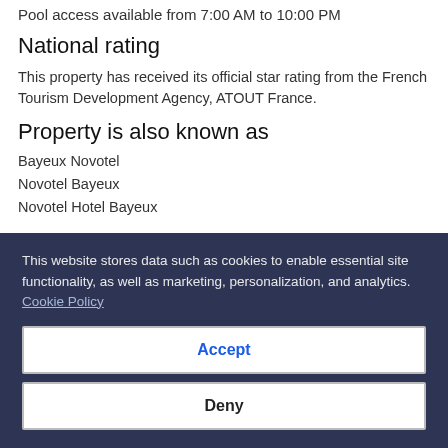Pool access available from 7:00 AM to 10:00 PM
National rating
This property has received its official star rating from the French Tourism Development Agency, ATOUT France.
Property is also known as
Bayeux Novotel
Novotel Bayeux
Novotel Hotel Bayeux
This website stores data such as cookies to enable essential site functionality, as well as marketing, personalization, and analytics. Cookie Policy
Accept
Deny